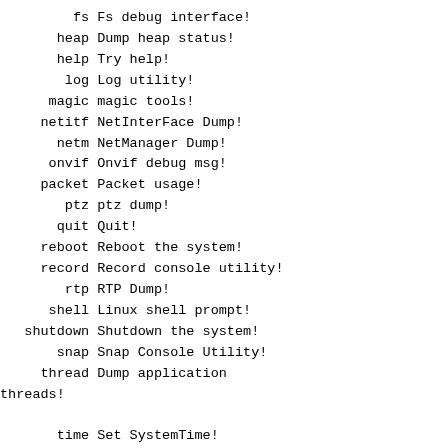fs Fs debug interface!
       heap Dump heap status!
       help Try help!
        log Log utility!
      magic magic tools!
     netitf NetInterFace Dump!
       netm NetManager Dump!
      onvif Onvif debug msg!
     packet Packet usage!
        ptz ptz dump!
       quit Quit!
     reboot Reboot the system!
     record Record console utility!
        rtp RTP Dump!
      shell Linux shell prompt!
   shutdown Shutdown the system!
       snap Snap Console Utility!
     thread Dump application
threads!
       time Set SystemTime!